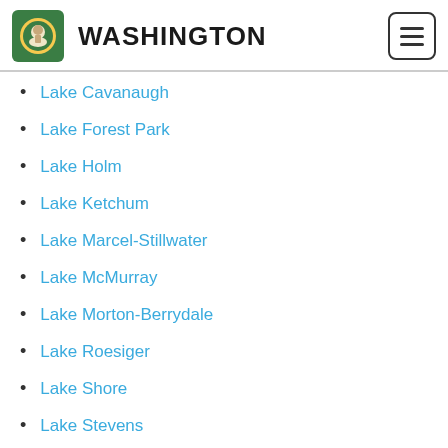WASHINGTON
Lake Cavanaugh
Lake Forest Park
Lake Holm
Lake Ketchum
Lake Marcel-Stillwater
Lake McMurray
Lake Morton-Berrydale
Lake Roesiger
Lake Shore
Lake Stevens
Lake Stickney
Lake Tapps
Lakeland North
Lakeland South
Lakeview